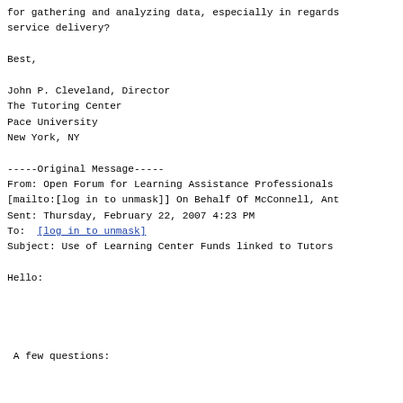for gathering and analyzing data, especially in regards service delivery?
Best,
John P. Cleveland, Director
The Tutoring Center
Pace University
New York, NY
-----Original Message-----
From: Open Forum for Learning Assistance Professionals
[mailto:[log in to unmask]] On Behalf Of McConnell, Ant
Sent: Thursday, February 22, 2007 4:23 PM
To: [log in to unmask]
Subject: Use of Learning Center Funds linked to Tutors
Hello:
A few questions:
1)        Outside of tutor pay, training, conferences, w related stipends, will anyone offer suggestions about w funds related to the
Learning Center's tutors.  Our Learning Center lo